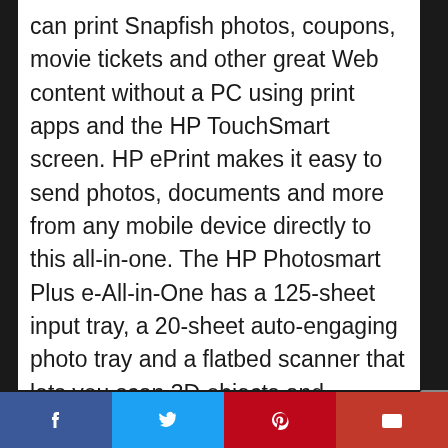can print Snapfish photos, coupons, movie tickets and other great Web content without a PC using print apps and the HP TouchSmart screen. HP ePrint makes it easy to send photos, documents and more from any mobile device directly to this all-in-one. The HP Photosmart Plus e-All-in-One has a 125-sheet input tray, a 20-sheet auto-engaging photo tray and a flatbed scanner that lets you scan 3D objects and documents up to 8.5″ x 11.7″. You can also print borderless photos up to 8.5″ x 11″. Individual inks and high-capacity cartridges help cut down on printing costs, and this Energy Star-qualified all-in-one helps you conserve energy
Facebook | Twitter | Pinterest | Email